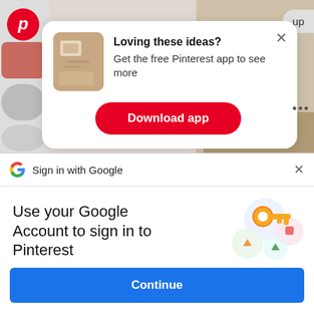[Figure (screenshot): Pinterest app download popup card with thumbnail image, heading 'Loving these ideas?', subtext 'Get the free Pinterest app to see more', and a red 'Download app' button. Above is Pinterest logo and 'up' button. Background shows blurred Pinterest board thumbnails.]
Loving these ideas?
Get the free Pinterest app to see more
Download app
Sign in with Google
Use your Google Account to sign in to Pinterest
No more passwords to remember.
Signing in is fast, simple and secure.
[Figure (illustration): Google sign-in key illustration with colorful pastel circles and a yellow key icon]
Continue